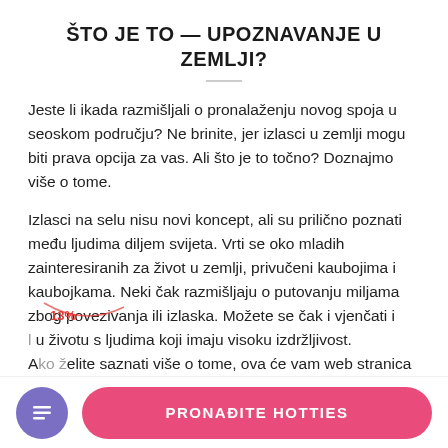ŠTO JE TO — UPOZNAVANJE U ZEMLJI?
Jeste li ikada razmišljali o pronalaženju novog spoja u seoskom području? Ne brinite, jer izlasci u zemlji mogu biti prava opcija za vas. Ali što je to točno? Doznajmo više o tome.
Izlasci na selu nisu novi koncept, ali su prilično poznati među ljudima diljem svijeta. Vrti se oko mladih zainteresiranih za život u zemlji, privučeni kaubojima i kaubojkama. Neki čak razmišljaju o putovanju miljama zbog povezivanja ili izlaska. Možete se čak i vjenčati i [...] u životu s ljudima koji imaju visoku izdržljivost. Ako želite saznati više o tome, ova će vam web stranica ponuditi sve potrebne pojedinosti o upoznavanju...